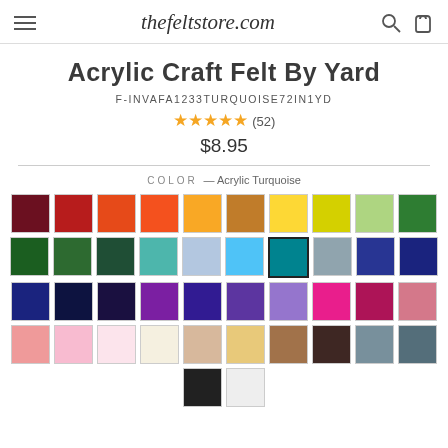thefeltstore.com
Acrylic Craft Felt By Yard
F-INVAFA1233TURQUOISE72IN1YD
★★★★★ (52)
$8.95
COLOR — Acrylic Turquoise
[Figure (other): Color swatch grid showing 40+ felt color options in rows of 10]